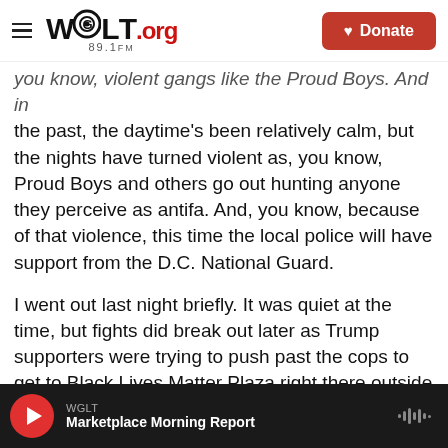WGLT.org 89.1FM — Donate
you know, violent gangs like the Proud Boys. And in the past, the daytime's been relatively calm, but the nights have turned violent as, you know, Proud Boys and others go out hunting anyone they perceive as antifa. And, you know, because of that violence, this time the local police will have support from the D.C. National Guard.
I went out last night briefly. It was quiet at the time, but fights did break out later as Trump supporters were trying to push past the cops to get to Black Lives Matter Plaza right there outside the White House. We're bracing for more of that today. And then— Next, on top of the risk of physical violence
WGLT — Marketplace Morning Report